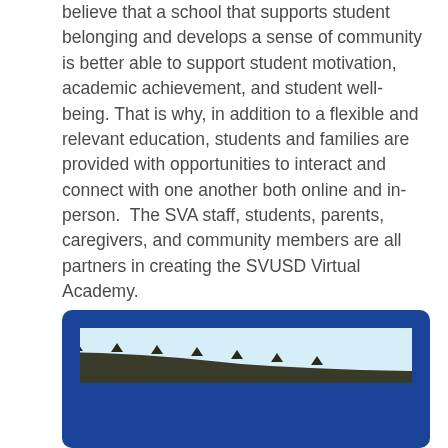believe that a school that supports student belonging and develops a sense of community is better able to support student motivation, academic achievement, and student well-being. That is why, in addition to a flexible and relevant education, students and families are provided with opportunities to interact and connect with one another both online and in-person.  The SVA staff, students, parents, caregivers, and community members are all partners in creating the SVUSD Virtual Academy.
[Figure (photo): A dark blue rounded rectangle box containing a landscape photograph showing a hillside or ridgeline with trees/shrubs against a light blue sky.]